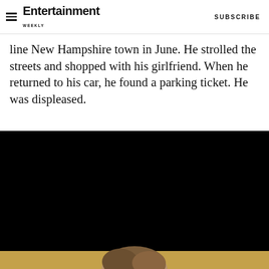Entertainment Weekly — SUBSCRIBE
line New Hampshire town in June. He strolled the streets and shopped with his girlfriend. When he returned to his car, he found a parking ticket. He was displeased.
[Figure (photo): A dark/mostly black photo with a partial view of a person's head with brown hair at the bottom, set against a golden/yellow background at the very bottom edge.]